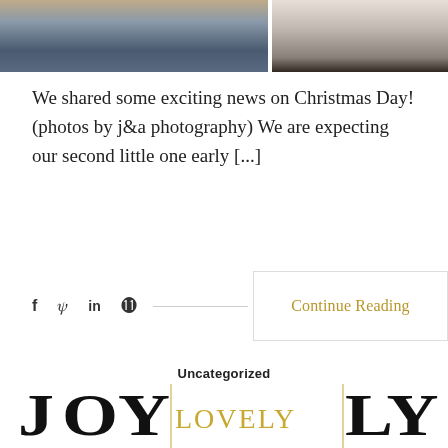[Figure (photo): Top portion of a photo showing two people, partially cropped. Left side shows darker clothing/jeans, right side shows a person in white.]
We shared some exciting news on Christmas Day! (photos by j&a photography) We are expecting our second little one early [...]
f  t  in  ⊕  ───────────────────  Continue Reading
Uncategorized
2017 Christmas Card
December 11, 2017   No Comments
[Figure (photo): Bottom portion of a Christmas card image showing large decorative text with 'JOY LOVELY' in black brush lettering with gold accent lettering.]